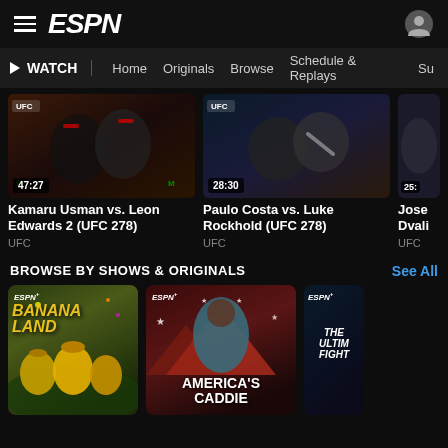ESPN WATCH navigation bar
[Figure (screenshot): UFC fight thumbnail - Kamaru Usman vs. Leon Edwards 2, duration 47:27]
Kamaru Usman vs. Leon Edwards 2 (UFC 278)
UFC
[Figure (screenshot): UFC fight thumbnail - Paulo Costa vs. Luke Rockhold, duration 28:30]
Paulo Costa vs. Luke Rockhold (UFC 278)
UFC
[Figure (screenshot): UFC fight thumbnail partial, duration 25:xx]
Jose Dvali...
UFC
BROWSE BY SHOWS & ORIGINALS
See All
[Figure (screenshot): Bananaland show poster on ESPN+]
[Figure (screenshot): America's Caddie show poster on ESPN+]
[Figure (screenshot): The Ultimate Fighter show poster on ESPN+, partially visible]